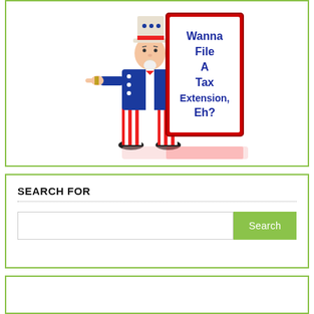[Figure (illustration): Uncle Sam cartoon character in blue jacket and red-white striped pants pointing at a red-framed sign that reads 'Wanna File A Tax Extension, Eh?' in dark blue bold text, with reflection below.]
SEARCH FOR
[Figure (other): Search input field with Search button in green]